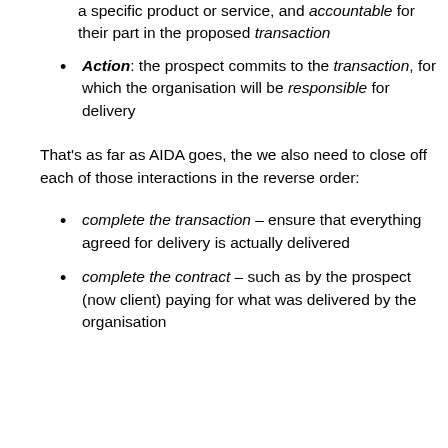Action: the prospect commits to the transaction, for which the organisation will be responsible for delivery
That's as far as AIDA goes, the we also need to close off each of those interactions in the reverse order:
complete the transaction – ensure that everything agreed for delivery is actually delivered
complete the contract – such as by the prospect (now client) paying for what was delivered by the organisation